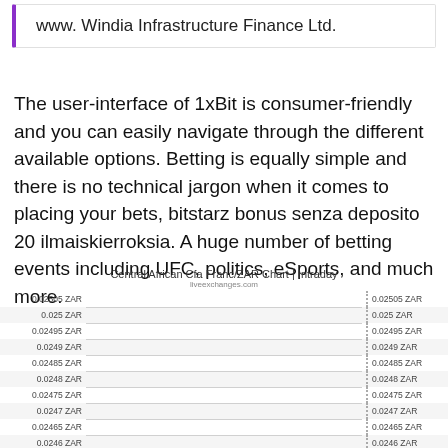www. Windia Infrastructure Finance Ltd.
The user-interface of 1xBit is consumer-friendly and you can easily navigate through the different available options. Betting is equally simple and there is no technical jargon when it comes to placing your bets, bitstarz bonus senza deposito 20 ilmaiskierroksia. A huge number of betting events including UFC, politics, eSports, and much more.
[Figure (continuous-plot): Intraday chart showing Central African CFA Franc to ZAR exchange rate with y-axis labels ranging from 0.02455 ZAR to 0.02505 ZAR on both left and right sides, with dotted right border and alternating gray/white row background]